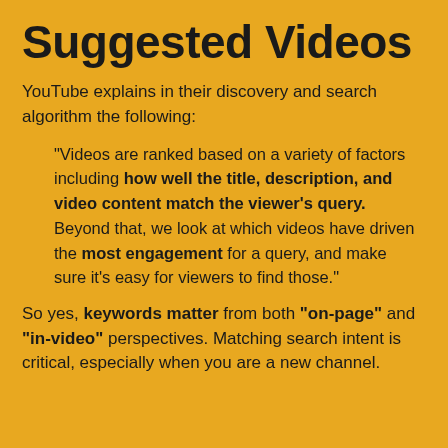Suggested Videos
YouTube explains in their discovery and search algorithm the following:
"Videos are ranked based on a variety of factors including how well the title, description, and video content match the viewer's query. Beyond that, we look at which videos have driven the most engagement for a query, and make sure it's easy for viewers to find those."
So yes, keywords matter from both "on-page" and "in-video" perspectives. Matching search intent is critical, especially when you are a new channel.